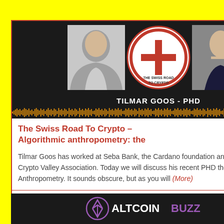[Figure (photo): Podcast thumbnail showing two hosts flanking The Swiss Road To Crypto logo, with name 'TILMAR GOOS - PHD' and audio waveform at bottom on dark background]
The Swiss Road To Crypto – Algorithmic anthropometry: the
Tilmar Goos has worked at Seba Bank, the Cardano foundation and currently at the Crypto Valley Association. Today we will discuss his recent PHD thesis about Algorithmic Anthropometry. It sounds obscure, but as you will (More)
364 views
no comments
[Figure (logo): Altcoin Buzz logo on dark background]